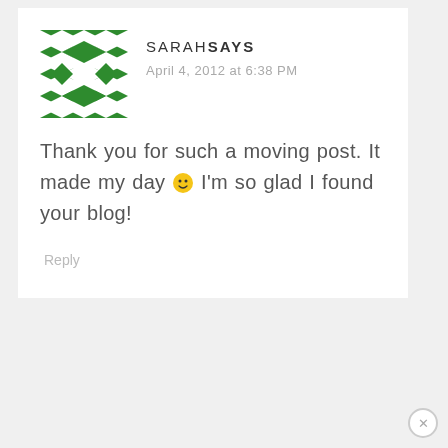[Figure (illustration): Green geometric/kaleidoscope avatar for Sarah]
SARAH SAYS
April 4, 2012 at 6:38 PM
Thank you for such a moving post. It made my day 🙂 I'm so glad I found your blog!
Reply
[Figure (illustration): Light green geometric avatar for Anonymous (partially visible)]
ANONYMOUS SAYS